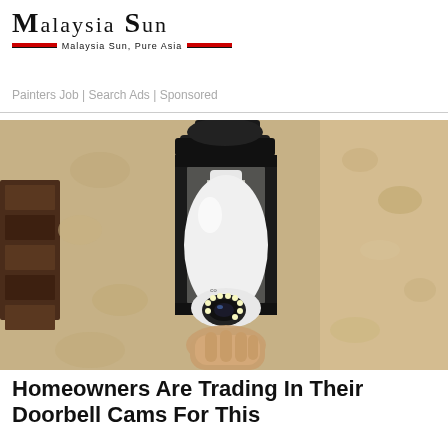MALAYSIA SUN — Malaysia Sun, Pure Asia
Painters Job | Search Ads | Sponsored
[Figure (photo): A security camera shaped like a light bulb installed in an outdoor wall-mounted black lantern fixture against a textured stucco wall.]
Homeowners Are Trading In Their Doorbell Cams For This